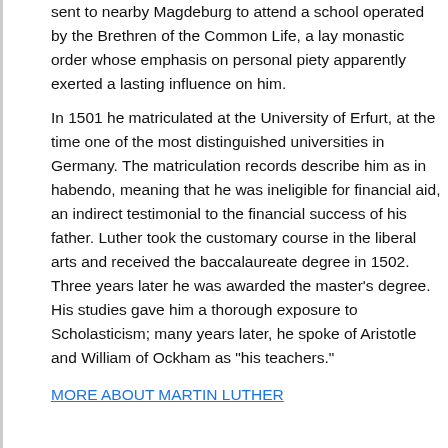sent to nearby Magdeburg to attend a school operated by the Brethren of the Common Life, a lay monastic order whose emphasis on personal piety apparently exerted a lasting influence on him.
In 1501 he matriculated at the University of Erfurt, at the time one of the most distinguished universities in Germany. The matriculation records describe him as in habendo, meaning that he was ineligible for financial aid, an indirect testimonial to the financial success of his father. Luther took the customary course in the liberal arts and received the baccalaureate degree in 1502. Three years later he was awarded the master's degree. His studies gave him a thorough exposure to Scholasticism; many years later, he spoke of Aristotle and William of Ockham as "his teachers."
MORE ABOUT MARTIN LUTHER